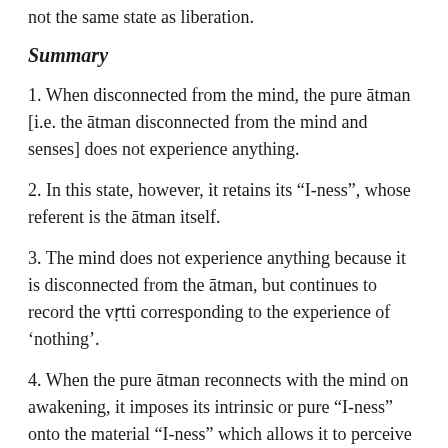not the same state as liberation.
Summary
1. When disconnected from the mind, the pure ātman [i.e. the ātman disconnected from the mind and senses] does not experience anything.
2. In this state, however, it retains its “I-ness”, whose referent is the ātman itself.
3. The mind does not experience anything because it is disconnected from the ātman, but continues to record the vṛtti corresponding to the experience of ‘nothing’.
4. When the pure ātman reconnects with the mind on awakening, it imposes its intrinsic or pure “I-ness” onto the material “I-ness” which allows it to perceive the vṛtti in point 3, and recall “I experienced nothing”.